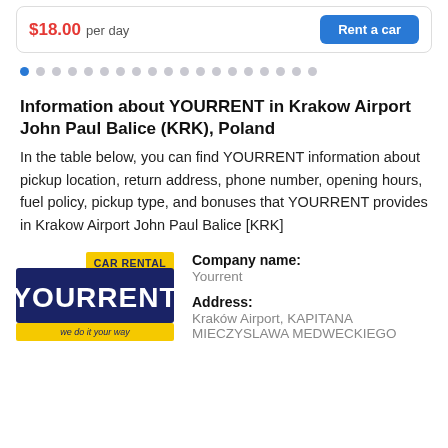$18.00 per day
[Figure (infographic): Pagination dots row with first dot highlighted in blue]
Information about YOURRENT in Krakow Airport John Paul Balice (KRK), Poland
In the table below, you can find YOURRENT information about pickup location, return address, phone number, opening hours, fuel policy, pickup type, and bonuses that YOURRENT provides in Krakow Airport John Paul Balice [KRK]
[Figure (logo): YOURRENT car rental logo with dark blue rectangle and yellow banner saying CAR RENTAL, white bold text YOURRENT, and yellow strip at bottom saying we do it your way]
Company name: Yourrent
Address: Kraków Airport, KAPITANA MIECZYSLAWA MEDWECKIEGO